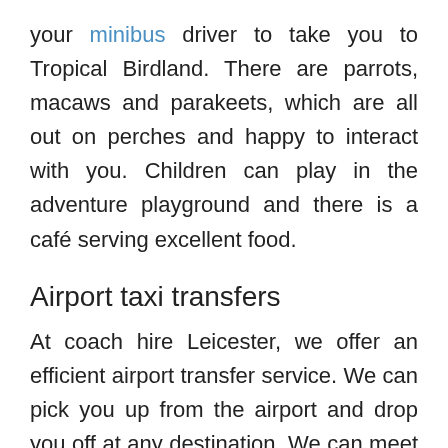your minibus driver to take you to Tropical Birdland. There are parrots, macaws and parakeets, which are all out on perches and happy to interact with you. Children can play in the adventure playground and there is a café serving excellent food.
Airport taxi transfers
At coach hire Leicester, we offer an efficient airport transfer service. We can pick you up from the airport and drop you off at any destination. We can meet and greet your guests and give the...